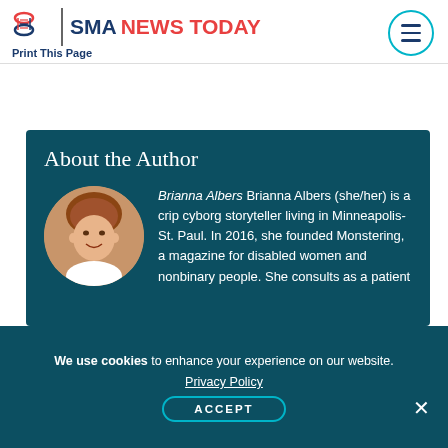SMA NEWS TODAY — Print This Page
About the Author
[Figure (photo): Circular portrait photo of Brianna Albers, a smiling woman with reddish-brown hair, wearing a white top.]
Brianna Albers Brianna Albers (she/her) is a crip cyborg storyteller living in Minneapolis-St. Paul. In 2016, she founded Monstering, a magazine for disabled women and nonbinary people. She consults as a patient
We use cookies to enhance your experience on our website.
Privacy Policy
ACCEPT